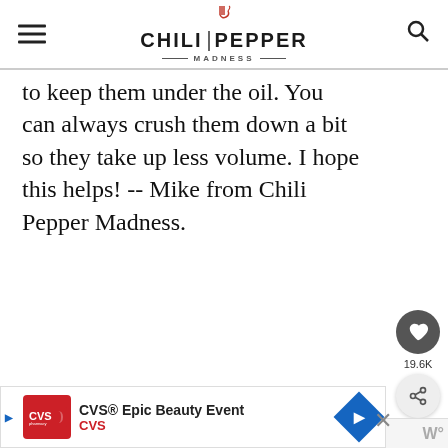CHILI PEPPER MADNESS
to keep them under the oil. You can always crush them down a bit so they take up less volume. I hope this helps! -- Mike from Chili Pepper Madness.
Reply
19.6K
WHAT'S NEXT → Drying Chili Peppers
CVS® Epic Beauty Event CVS